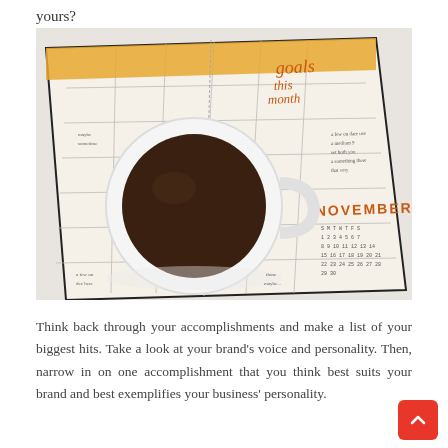yours?
[Figure (photo): Overhead photo of an open bullet journal/planner with a 'goals this month' section and a November calendar grid, with a white coffee mug sitting on top of the planner pages, all on a light grey surface.]
Think back through your accomplishments and make a list of your biggest hits. Take a look at your brand's voice and personality. Then, narrow in on one accomplishment that you think best suits your brand and best exemplifies your business' personality.